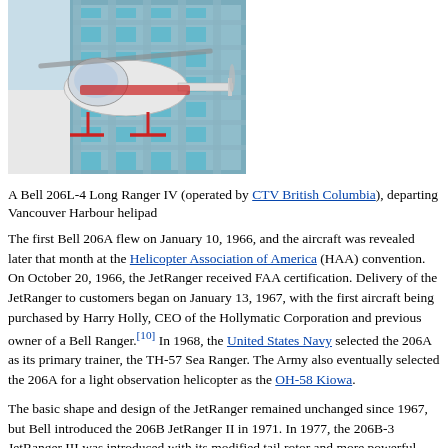[Figure (photo): A Bell 206L-4 Long Ranger IV helicopter in white and red livery, departing Vancouver Harbour helipad, with a glass building in the background.]
A Bell 206L-4 Long Ranger IV (operated by CTV British Columbia), departing Vancouver Harbour helipad
The first Bell 206A flew on January 10, 1966, and the aircraft was revealed later that month at the Helicopter Association of America (HAA) convention. On October 20, 1966, the JetRanger received FAA certification. Delivery of the JetRanger to customers began on January 13, 1967, with the first aircraft being purchased by Harry Holly, CEO of the Hollymatic Corporation and previous owner of a Bell Ranger.[10] In 1968, the United States Navy selected the 206A as its primary trainer, the TH-57 Sea Ranger. The Army also eventually selected the 206A for a light observation helicopter as the OH-58 Kiowa.
The basic shape and design of the JetRanger remained unchanged since 1967, but Bell introduced the 206B JetRanger II in 1971. In 1977, the 206B-3 JetRanger III was introduced with its modified tail rotor and more powerful engine. The JetRanger is popular with news media for traffic and news reporting. The LongRanger is commonly used as an air ambulance and as a corporate transport.